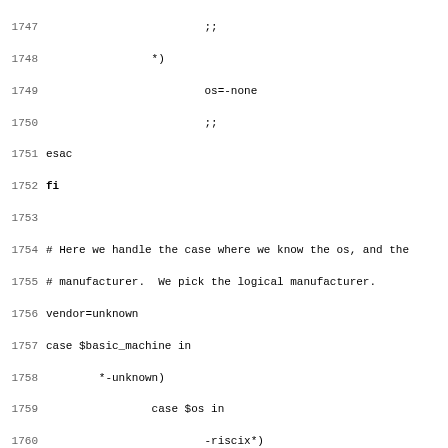Code listing lines 1747-1779 showing shell script case statement for OS and vendor detection